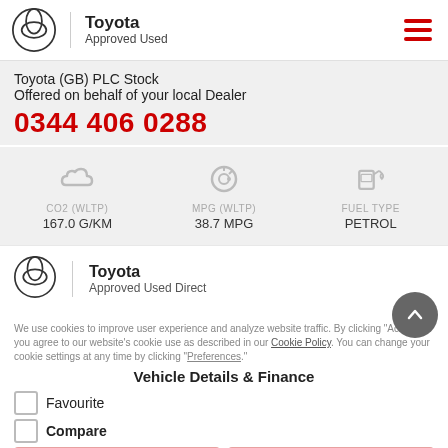Toyota Approved Used
Toyota (GB) PLC Stock
Offered on behalf of your local Dealer
0344 406 0288
[Figure (infographic): CO2 (WLTP) 167.0 G/KM | MPG (WLTP) 38.7 MPG | FUEL TYPE PETROL]
[Figure (logo): Toyota Approved Used Direct logo]
We use cookies to improve user experience and analyze website traffic. By clicking "Accept," you agree to our website's cookie use as described in our Cookie Policy. You can change your cookie settings at any time by clicking "Preferences."
Vehicle Details & Finance
Favourite
Compare